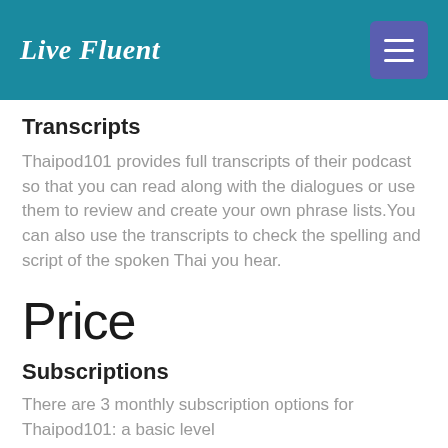Live Fluent
Transcripts
Thaipod101 provides full transcripts of their podcast so that you can read along with the dialogues or use them to review and create your own phrase lists. You can also use the transcripts to check the spelling and script of the spoken Thai you hear.
Price
Subscriptions
There are 3 monthly subscription options for Thaipod101: a basic level